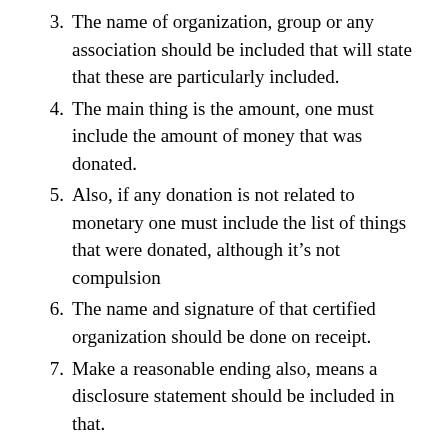3. The name of organization, group or any association should be included that will state that these are particularly included.
4. The main thing is the amount, one must include the amount of money that was donated.
5. Also, if any donation is not related to monetary one must include the list of things that were donated, although it's not compulsion
6. The name and signature of that certified organization should be done on receipt.
7. Make a reasonable ending also, means a disclosure statement should be included in that.